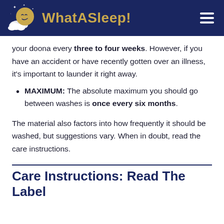WhatASleep!
your doona every three to four weeks. However, if you have an accident or have recently gotten over an illness, it's important to launder it right away.
MAXIMUM: The absolute maximum you should go between washes is once every six months.
The material also factors into how frequently it should be washed, but suggestions vary. When in doubt, read the care instructions.
Care Instructions: Read The Label